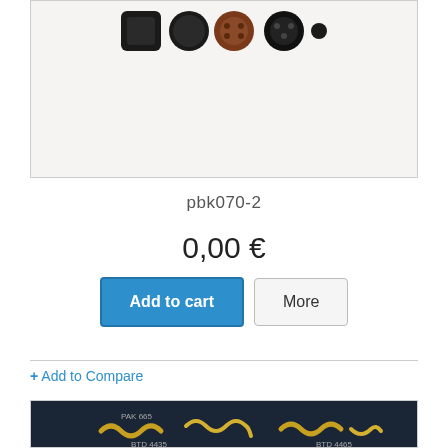[Figure (photo): Product photo of buttons/buckles in black, brown and black colors on a white background]
pbk070-2
0,00 €
Add to cart
More
+ Add to Compare
[Figure (photo): Product photo of decorative snake-shaped metal pieces (gold and silver) on a dark blue background with labels]